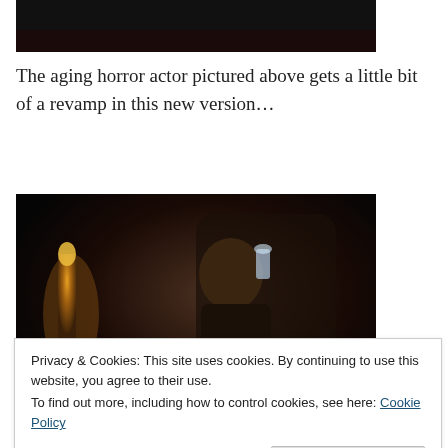[Figure (photo): Top portion of a dark image, partially cropped at the top of the page]
The aging horror actor pictured above gets a little bit of a revamp in this new version…
[Figure (photo): A man in dark clothing sitting in a throne-like chair, holding up a glass, with candlelight in the background — appears to be a scene from a vampire TV show]
Played by former Doctor Who actor David Tennant, Peter
Privacy & Cookies: This site uses cookies. By continuing to use this website, you agree to their use.
To find out more, including how to control cookies, see here: Cookie Policy
real vampire hunter. Tennant brings a great sense of